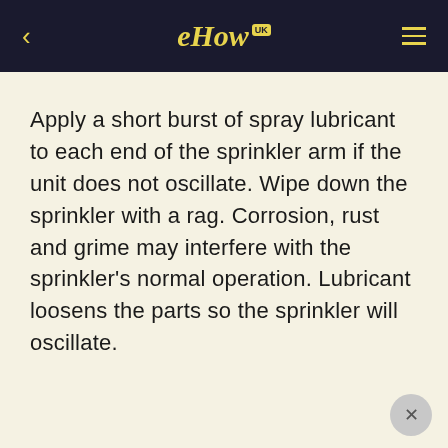eHow UK
Apply a short burst of spray lubricant to each end of the sprinkler arm if the unit does not oscillate. Wipe down the sprinkler with a rag. Corrosion, rust and grime may interfere with the sprinkler's normal operation. Lubricant loosens the parts so the sprinkler will oscillate.